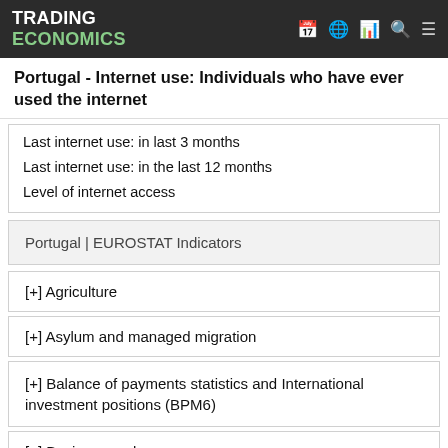TRADING ECONOMICS
Portugal - Internet use: Individuals who have ever used the internet
Last internet use: in last 3 months
Last internet use: in the last 12 months
Level of internet access
Portugal | EUROSTAT Indicators
[+] Agriculture
[+] Asylum and managed migration
[+] Balance of payments statistics and International investment positions (BPM6)
[+] Business and consumer surveys